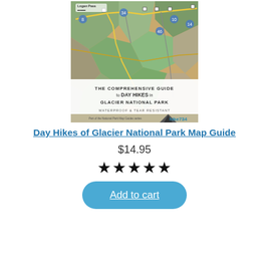[Figure (map): Cover image of 'The Comprehensive Guide to Day Hikes in Glacier National Park' map guide by hike734. Shows a topographic trail map of Glacier National Park with marked trails, campgrounds, and roads. Bottom portion has a white banner with title text and 'WATERPROOF & TEAR RESISTANT' label.]
Day Hikes of Glacier National Park Map Guide
$14.95
★★★★★
Add to cart